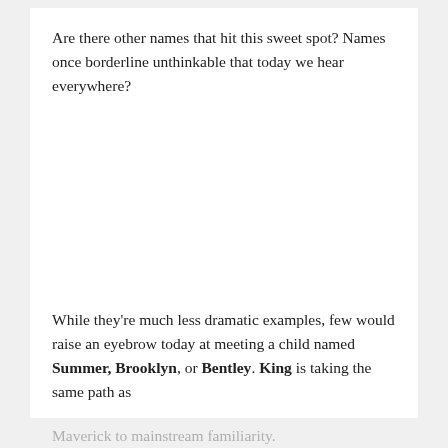Are there other names that hit this sweet spot? Names once borderline unthinkable that today we hear everywhere?
While they're much less dramatic examples, few would raise an eyebrow today at meeting a child named Summer, Brooklyn, or Bentley. King is taking the same path as Maverick to mainstream familiarity.